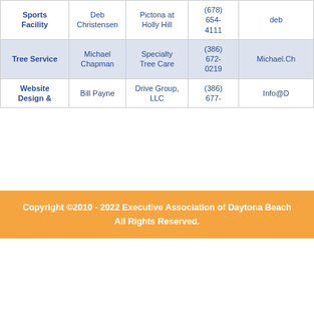| Category | Contact | Company | Phone | Email |
| --- | --- | --- | --- | --- |
| Sports Facility | Deb Christensen | Pictona at Holly Hill | (678) 654-4111 | deb… |
| Tree Service | Michael Chapman | Specialty Tree Care | (386) 672-0219 | Michael.Ch… |
| Website Design & | Bill Payne | Drive Group, LLC | (386) 677-… | Info@D… |
Copyright ©2010 - 2022 Executive Association of Daytona Beach
All Rights Reserved.